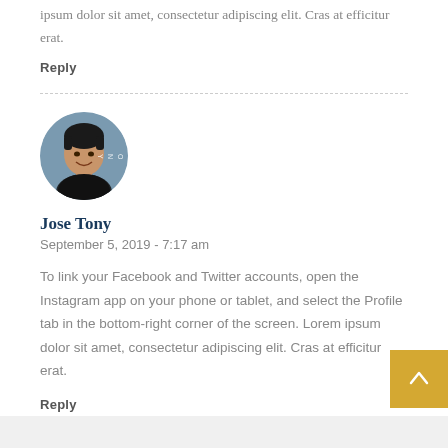ipsum dolor sit amet, consectetur adipiscing elit. Cras at efficitur erat.
Reply
[Figure (photo): Circular avatar photo of Jose Tony, a smiling young man wearing a dark shirt, with letters 'O N Y' visible on the right edge.]
Jose Tony
September 5, 2019 - 7:17 am
To link your Facebook and Twitter accounts, open the Instagram app on your phone or tablet, and select the Profile tab in the bottom-right corner of the screen. Lorem ipsum dolor sit amet, consectetur adipiscing elit. Cras at efficitur erat.
Reply